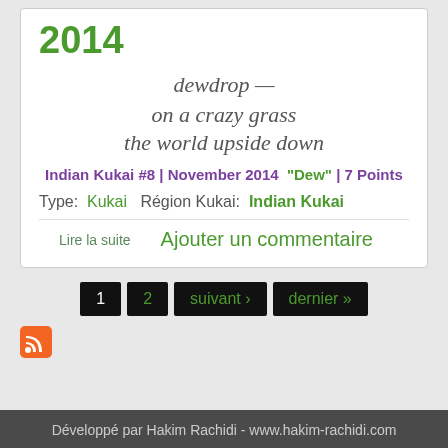2014
dewdrop —
on a crazy grass
the world upside down
Indian Kukai #8 | November 2014  "Dew" | 7 Points
Type:  Kukai    Région Kukai:  Indian Kukai
Lire la suite    Ajouter un commentaire
1  2  suivant ›  dernier »
[Figure (logo): RSS feed icon (orange square with white radio waves)]
Développé par Hakim Rachidi - www.hakim-rachidi.com